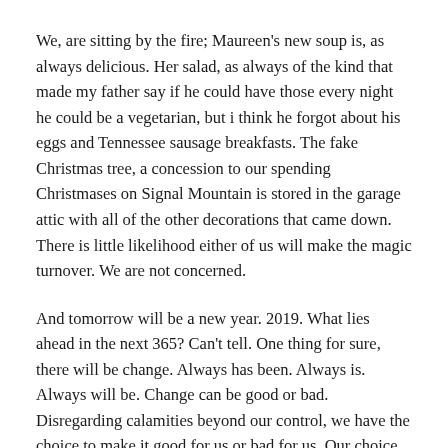We, are sitting by the fire; Maureen's new soup is, as always delicious. Her salad, as always of the kind that made my father say if he could have those every night he could be a vegetarian, but i think he forgot about his eggs and Tennessee sausage breakfasts. The fake Christmas tree, a concession to our spending Christmases on Signal Mountain is stored in the garage attic with all of the other decorations that came down. There is little likelihood either of us will make the magic turnover. We are not concerned.
And tomorrow will be a new year. 2019. What lies ahead in the next 365? Can't tell. One thing for sure, there will be change. Always has been. Always is. Always will be. Change can be good or bad. Disregarding calamities beyond our control, we have the choice to make it good for us or bad for us. Our choice.
Now this is a little more challenging this year; thinking about